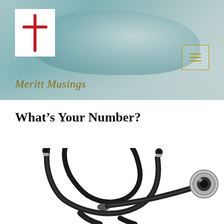[Figure (screenshot): Website header with teal/green watercolor background, Meritt Musings blog logo (white box with red cross), hamburger menu icon in gold border, and site title 'Meritt Musings' in gold italic text]
What’s Your Number?
[Figure (photo): A black and silver stethoscope photographed on a white background, partially cropped, showing the tubing looped and the chest piece visible on the right side]